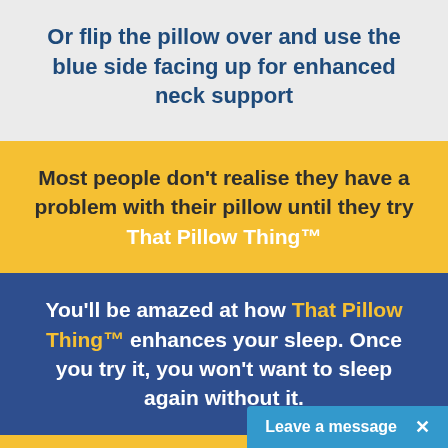Or flip the pillow over and use the blue side facing up for enhanced neck support
Most people don't realise they have a problem with their pillow until they try That Pillow Thing™
You'll be amazed at how That Pillow Thing™ enhances your sleep. Once you try it, you won't want to sleep again without it.
90 days, no fuss, money back guarantee. This allows you to really try
Leave a message ×